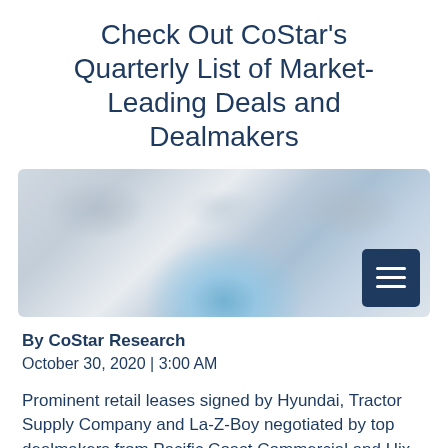Check Out CoStar's Quarterly List of Market-Leading Deals and Dealmakers
[Figure (photo): Blurred decorative image with blue tones, showing a blurred indoor or abstract scene, with a dark navy hamburger/menu icon button in the bottom-right corner]
By CoStar Research
October 30, 2020 | 3:00 AM
Prominent retail leases signed by Hyundai, Tractor Supply Company and La-Z-Boy negotiated by top dealmakers from Pacific Coast Commercial and Hix Snedeker